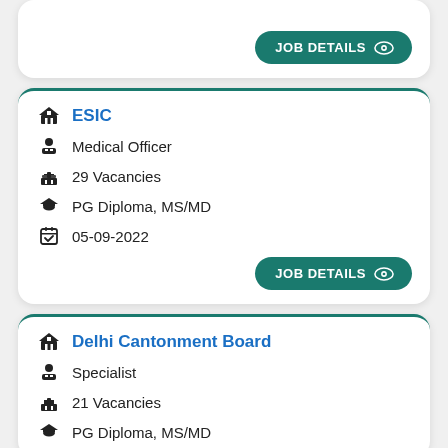[Figure (other): JOB DETAILS button at top of page (partial card)]
ESIC
Medical Officer
29 Vacancies
PG Diploma, MS/MD
05-09-2022
[Figure (other): JOB DETAILS button]
Delhi Cantonment Board
Specialist
21 Vacancies
PG Diploma, MS/MD